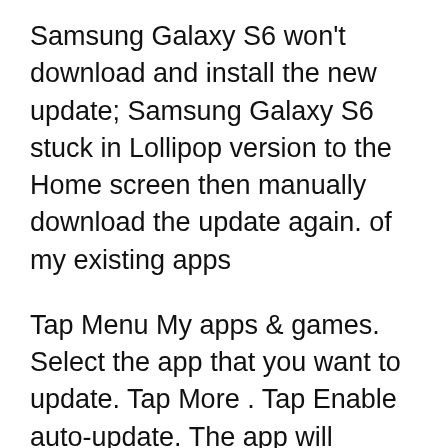Samsung Galaxy S6 won't download and install the new update; Samsung Galaxy S6 stuck in Lollipop version to the Home screen then manually download the update again. of my existing apps
Tap Menu My apps & games. Select the app that you want to update. Tap More . Tap Enable auto-update. The app will update automatically when updates are available. To turn off automatic updates, untick the box. Update Android apps manually. To update apps individually or in bulk using the Google Play Store app on your mobile device: Jan 07, 2020 · October 18, 2019: Samsung is pushing out a new software update for the Galaxy Fold that gives it a new set of cool features. Flat screen not the...